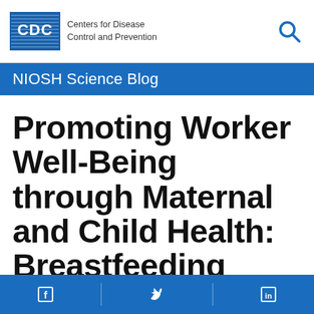[Figure (logo): CDC Centers for Disease Control and Prevention logo with search icon]
NIOSH Science Blog
Promoting Worker Well-Being through Maternal and Child Health: Breastfeeding Accommodations in
Facebook | Twitter | LinkedIn social media icons